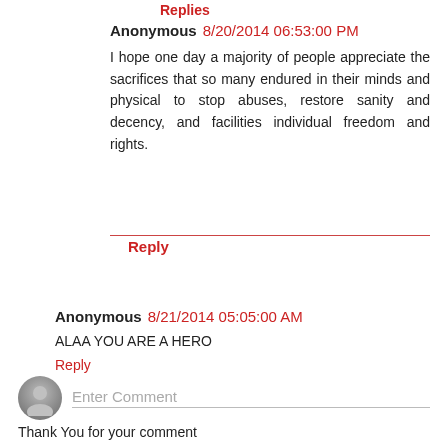Replies
Anonymous 8/20/2014 06:53:00 PM
I hope one day a majority of people appreciate the sacrifices that so many endured in their minds and physical to stop abuses, restore sanity and decency, and facilities individual freedom and rights.
Reply
Anonymous 8/21/2014 05:05:00 AM
ALAA YOU ARE A HERO
Reply
Enter Comment
Thank You for your comment